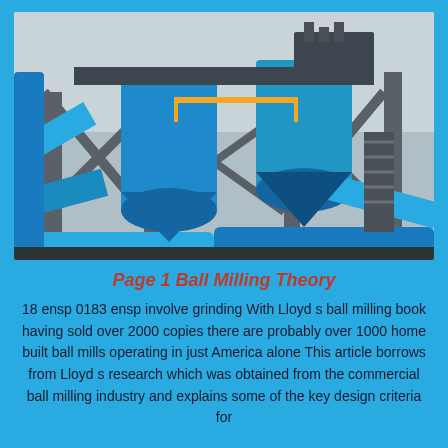[Figure (photo): Industrial ball mill facility photographed from below, showing large blue cylindrical mill vessels mounted on a steel structure framework. Blue pipes and yellow safety railings visible. Overcast sky in background.]
Page 1 Ball Milling Theory
18 ensp 0183 ensp involve grinding With Lloyd s ball milling book having sold over 2000 copies there are probably over 1000 home built ball mills operating in just America alone This article borrows from Lloyd s research which was obtained from the commercial ball milling industry and explains some of the key design criteria for